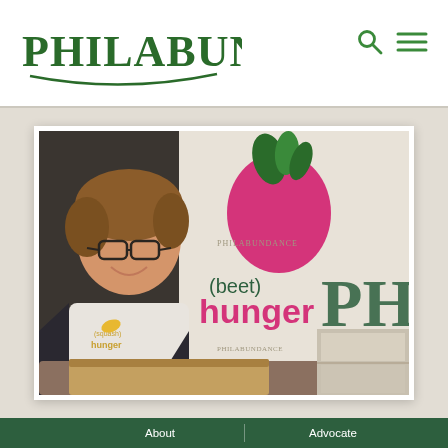[Figure (logo): Philabundance logo with green serif text and decorative curved underline]
[Figure (photo): A smiling woman with glasses wearing a white 'squash hunger' t-shirt over a dark cardigan, holding a cardboard box in front of a Philabundance backdrop showing '(beet) hunger' in pink text with a pink beet graphic]
About
Advocate